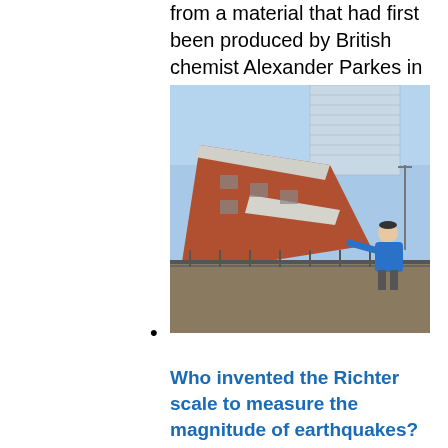from a material that had first been produced by British chemist Alexander Parkes in 1855....
[Figure (photo): Photo of earthquake-damaged building collapsed sideways, with a man in a blue jacket pointing at the damage. A tall modern building stands intact in the background.]
Who invented the Richter scale to measure the magnitude of earthquakes? Charles F. Richter of the California Institute of Technology developed the Richter scale in 1935 as a mathematical device to compare the sizes of earthquakes. Each whole number increase in the scale